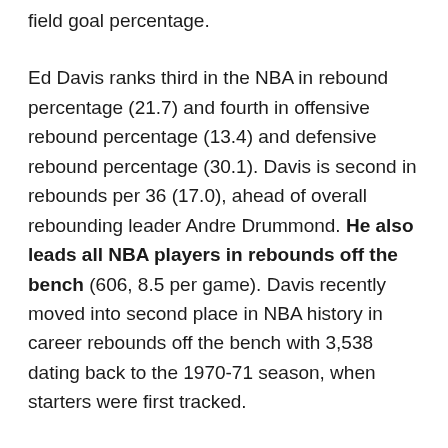field goal percentage.
Ed Davis ranks third in the NBA in rebound percentage (21.7) and fourth in offensive rebound percentage (13.4) and defensive rebound percentage (30.1). Davis is second in rebounds per 36 (17.0), ahead of overall rebounding leader Andre Drummond. He also leads all NBA players in rebounds off the bench (606, 8.5 per game). Davis recently moved into second place in NBA history in career rebounds off the bench with 3,538 dating back to the 1970-71 season, when starters were first tracked.